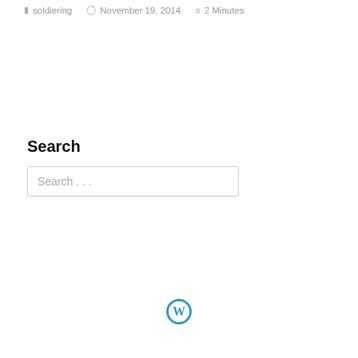soldiering   November 19, 2014   2 Minutes
Search
Search ...
[Figure (logo): WordPress logo — blue circle with white W]